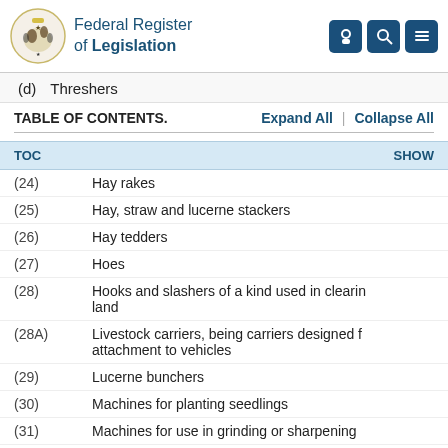Federal Register of Legislation
(d) Threshers
TABLE OF CONTENTS.   Expand All | Collapse All
(24) Hay rakes
(25) Hay, straw and lucerne stackers
(26) Hay tedders
(27) Hoes
(28) Hooks and slashers of a kind used in clearing land
(28A) Livestock carriers, being carriers designed for attachment to vehicles
(29) Lucerne bunchers
(30) Machines for planting seedlings
(31) Machines for use in grinding or sharpening